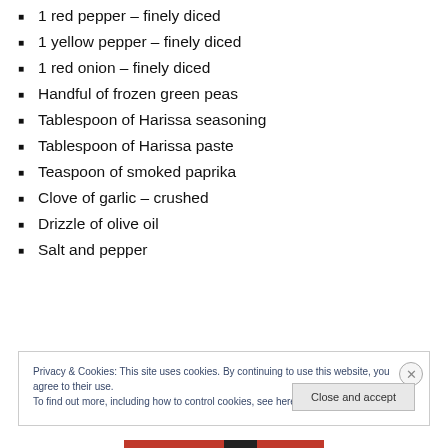1 red pepper – finely diced
1 yellow pepper – finely diced
1 red onion – finely diced
Handful of frozen green peas
Tablespoon of Harissa seasoning
Tablespoon of Harissa paste
Teaspoon of smoked paprika
Clove of garlic – crushed
Drizzle of olive oil
Salt and pepper
Privacy & Cookies: This site uses cookies. By continuing to use this website, you agree to their use. To find out more, including how to control cookies, see here: Cookie Policy
Close and accept